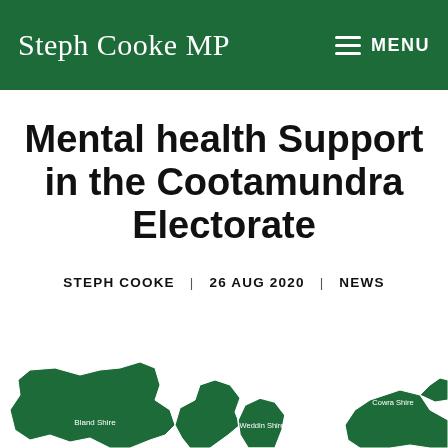Steph Cooke MP | MENU
Mental health Support in the Cootamundra Electorate
STEPH COOKE | 26 AUG 2020 | NEWS
[Figure (map): Map of the Cootamundra Electorate showing shires including Bland Shire, Weddin Shire, and Cowra Shire in dark green with white boundary lines.]